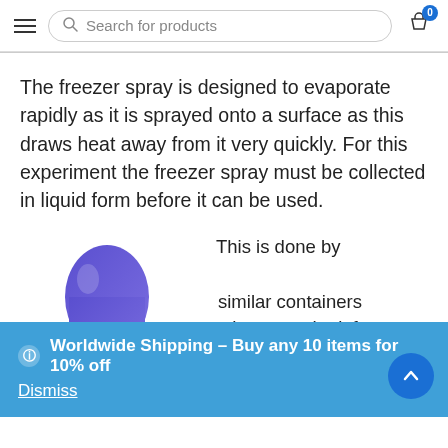Search for products | Cart 0
The freezer spray is designed to evaporate rapidly as it is sprayed onto a surface as this draws heat away from it very quickly. For this experiment the freezer spray must be collected in liquid form before it can be used.
[Figure (illustration): Purple teardrop/blob shaped container illustration]
This is done by similar containers shown on the left. The button is then
Worldwide Shipping - Buy any 10 items for 10% off Dismiss